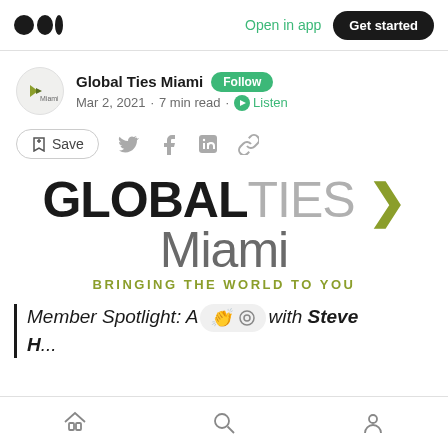Open in app · Get started
Global Ties Miami · Follow
Mar 2, 2021 · 7 min read · Listen
Save
[Figure (logo): Global Ties Miami logo with tagline BRINGING THE WORLD TO YOU]
Member Spotlight: An interview with Steve H...
Home · Search · Profile